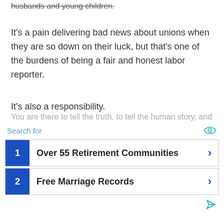husbands and young children.
It's a pain delivering bad news about unions when they are so down on their luck, but that's one of the burdens of being a fair and honest labor reporter.
It's also a responsibility.
I know, because I spent quite a long time doing the job, and can tell you all about the rewards and headaches, among them angry words hurled at you by union officials who say you are not on their side.
But truly you are not on their side.
You are there to tell the truth, to tell the human story, and to make sure
[Figure (other): Advertisement overlay with search bar and two ad listings: 1. Over 55 Retirement Communities, 2. Free Marriage Records. Both have blue number badges and right-arrow links.]